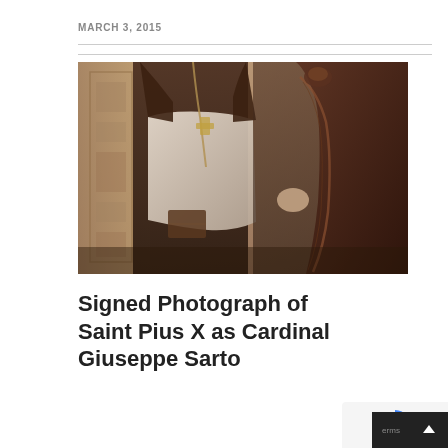MARCH 3, 2015
[Figure (photo): Sepia-toned historical photograph showing a Catholic cardinal or bishop in formal ecclesiastical vestments including lace surplice and pectoral cross, standing beside an ornate chair. The figure's face is not visible — the image is cropped at the torso/waist area.]
Signed Photograph of Saint Pius X as Cardinal Giuseppe Sarto